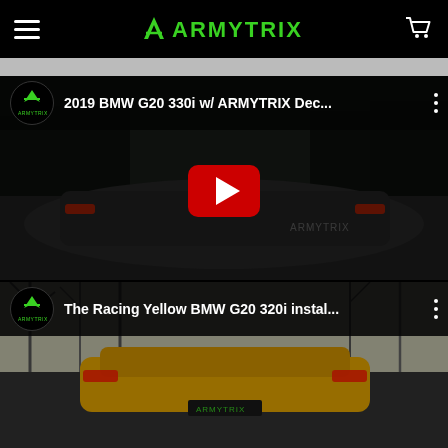ARMYTRIX mobile website header with hamburger menu, logo, and cart icon
[Figure (screenshot): YouTube video thumbnail: 2019 BMW G20 330i w/ ARMYTRIX Dec... - dark rear view of BMW sedan on road at night, with red YouTube play button overlay]
[Figure (screenshot): YouTube video thumbnail: The Racing Yellow BMW G20 320i instal... - rear view of yellow BMW sedan, partial view]